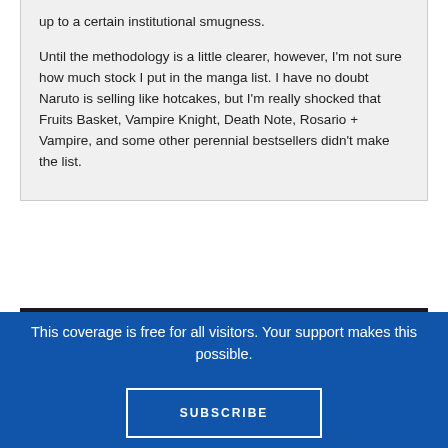up to a certain institutional smugness.
Until the methodology is a little clearer, however, I'm not sure how much stock I put in the manga list. I have no doubt Naruto is selling like hotcakes, but I'm really shocked that Fruits Basket, Vampire Knight, Death Note, Rosario + Vampire, and some other perennial bestsellers didn't make the list.
This coverage is free for all visitors. Your support makes this possible.
SUBSCRIBE